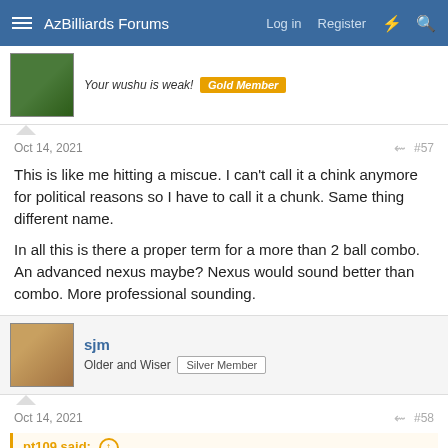AzBilliards Forums  Log in  Register
Your wushu is weak!  Gold Member
Oct 14, 2021  #57
This is like me hitting a miscue. I can't call it a chink anymore for political reasons so I have to call it a chunk. Same thing different name.

In all this is there a proper term for a more than 2 ball combo. An advanced nexus maybe? Nexus would sound better than combo. More professional sounding.
sjm
Older and Wiser  Silver Member
Oct 14, 2021  #58
pt109 said: